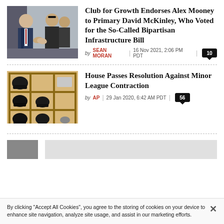[Figure (photo): Two men shaking hands, one in a suit, in an indoor setting]
Club for Growth Endorses Alex Mooney to Primary David McKinley, Who Voted for the So-Called Bipartisan Infrastructure Bill
by SEAN MORAN | 16 Nov 2021, 2:06 PM PDT | 10
[Figure (photo): Baseball helmets stored in a wooden cubby shelf locker room]
House Passes Resolution Against Minor League Contraction
by AP | 29 Jan 2020, 6:42 AM PDT | 56
By clicking "Accept All Cookies", you agree to the storing of cookies on your device to enhance site navigation, analyze site usage, and assist in our marketing efforts.